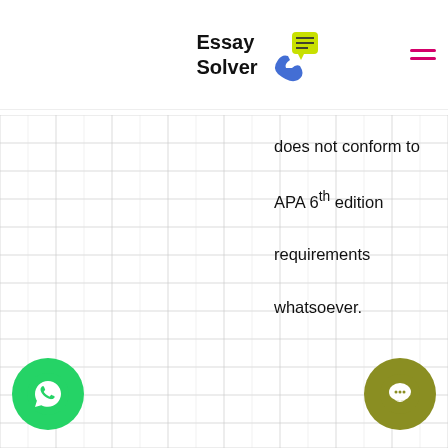Essay Solver
does not conform to APA 6th edition requirements whatsoever.